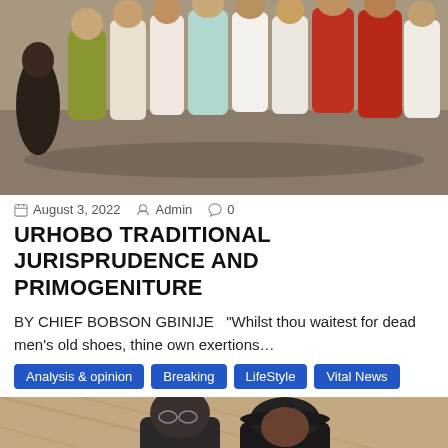[Figure (photo): Group of people in traditional colorful attire standing outdoors on a paved area]
August 3, 2022  Admin  0
URHOBO TRADITIONAL JURISPRUDENCE AND PRIMOGENITURE
BY CHIEF BOBSON GBINIJE  "Whilst thou waitest for dead men's old shoes, thine own exertions…
Analysis & opinion
Breaking
LifeStyle
Vital News
[Figure (photo): Two men in traditional attire, one wearing a hat, photographed indoors]